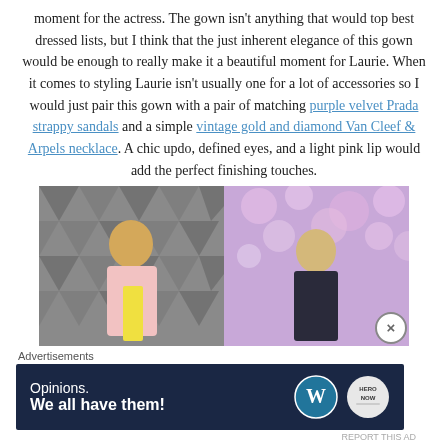moment for the actress. The gown isn't anything that would top best dressed lists, but I think that the just inherent elegance of this gown would be enough to really make it a beautiful moment for Laurie. When it comes to styling Laurie isn't usually one for a lot of accessories so I would just pair this gown with a pair of matching purple velvet Prada strappy sandals and a simple vintage gold and diamond Van Cleef & Arpels necklace. A chic updo, defined eyes, and a light pink lip would add the perfect finishing touches.
[Figure (photo): Two side-by-side celebrity photos: left shows a woman with blonde hair in a pink and yellow outfit against a grey triangle-patterned background; right shows a blonde woman in a dark outfit against a floral purple background.]
Advertisements
[Figure (other): Advertisement banner with dark navy background. Text: 'Opinions. We all have them!' with WordPress and HeroNow logos.]